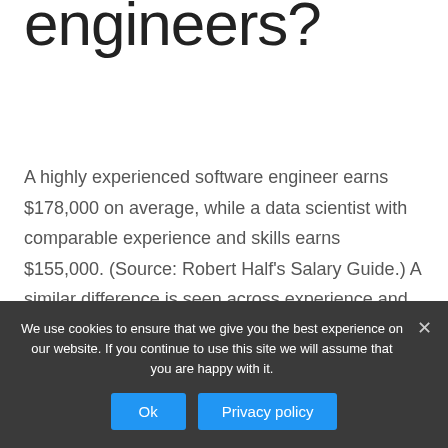engineers?
A highly experienced software engineer earns $178,000 on average, while a data scientist with comparable experience and skills earns $155,000. (Source: Robert Half's Salary Guide.) A similar difference is seen across experience and skill levels.
Is TensorFlow better than
We use cookies to ensure that we give you the best experience on our website. If you continue to use this site we will assume that you are happy with it.